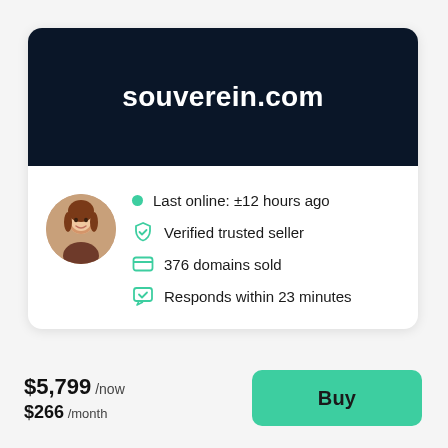souverein.com
Last online: ±12 hours ago
Verified trusted seller
376 domains sold
Responds within 23 minutes
$5,799 /now
$266 /month
Buy